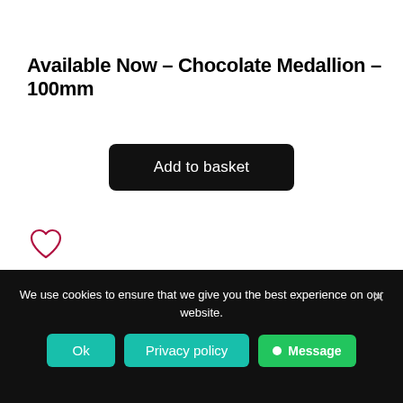Available Now – Chocolate Medallion – 100mm
Add to basket
[Figure (illustration): Heart/wish-list icon outline in dark red/maroon]
We use cookies to ensure that we give you the best experience on our website.
Ok
Privacy policy
Message